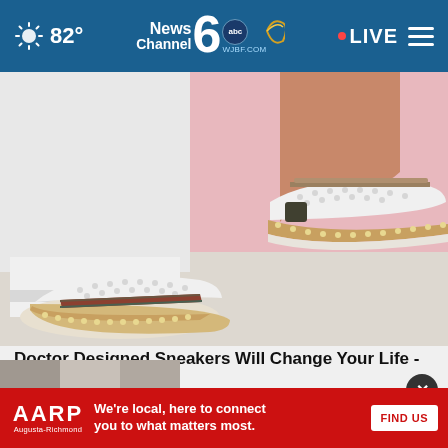82° | NewsChannel 6 abc WJBF.COM | LIVE
[Figure (photo): Close-up photo of a person wearing white slip-on sneakers with perforated design, striped accent band, and cork-style sole trim, on a pink/white background]
Doctor Designed Sneakers Will Change Your Life - Now 50% off
Surse...
[Figure (photo): Partial view of another image at the bottom of the page]
AARP Augusta-Richmond — We're local, here to connect you to what matters most. FIND US